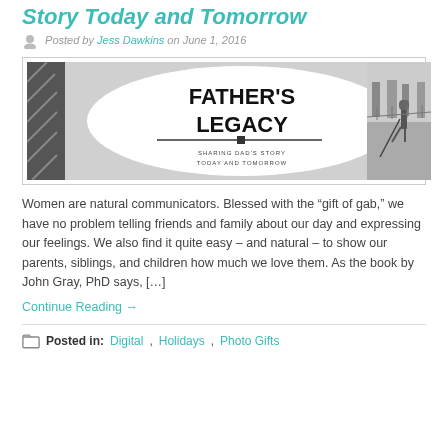Story Today and Tomorrow
Posted by Jess Dawkins on June 1, 2016
[Figure (illustration): Father's Legacy banner image — black and white graphic with bold text 'FATHER'S LEGACY' in an oval on the left, with subtitle 'SHARING DAD'S STORY TODAY AND TOMORROW', and a black-and-white painting of a man using a long tool outdoors on the right.]
Women are natural communicators. Blessed with the “gift of gab,” we have no problem telling friends and family about our day and expressing our feelings. We also find it quite easy – and natural – to show our parents, siblings, and children how much we love them. As the book by John Gray, PhD says, […]
Continue Reading →
Posted in: Digital, Holidays, Photo Gifts